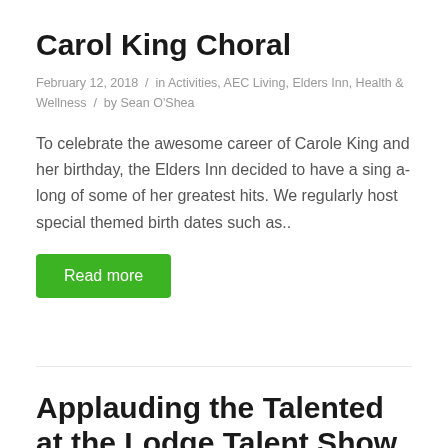Carol King Choral
February 12, 2018  /  in Activities, AEC Living, Elders Inn, Health & Wellness  /  by Sean O'Shea
To celebrate the awesome career of Carole King and her birthday, the Elders Inn decided to have a sing a-long of some of her greatest hits. We regularly host special themed birth dates such as..
Read more
Applauding the Talented at the Lodge Talent Show
February 5, 2018  /  in AEC Living, The Lodge  /  by Sean O'Shea